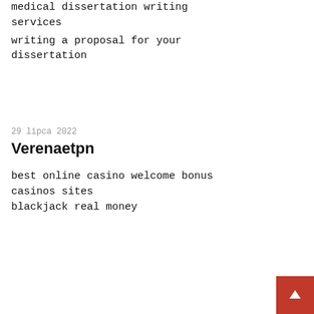medical dissertation writing services
writing a proposal for your dissertation
29 lipca 2022
Verenaetpn
best online casino welcome bonus casinos sites blackjack real money